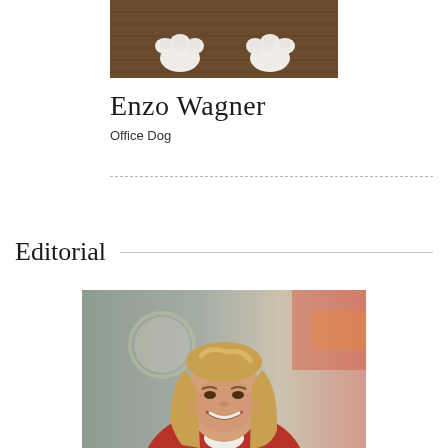[Figure (photo): Close-up photo of a dog's white paws resting on a brown textured surface (woven mat or basket), viewed from above.]
Enzo Wagner
Office Dog
Editorial
[Figure (photo): Professional portrait of a smiling middle-aged woman with long blonde hair, wearing a red jacket, photographed in an office or home setting with a clock and colorful artwork visible in the blurred background.]